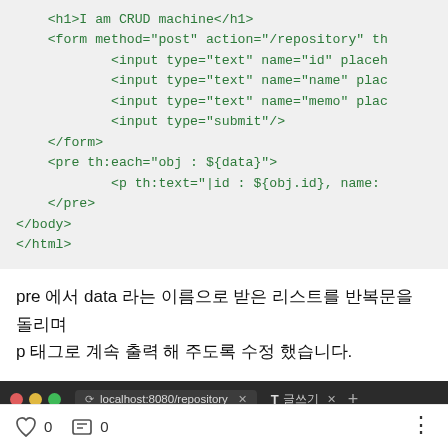[Figure (screenshot): Code block showing HTML template code with Thymeleaf attributes on a light gray background. Code includes h1 tag, form tag, input tags, and pre/p tags with th:each and th:text attributes.]
pre 에서 data 라는 이름으로 받은 리스트를 반복문을 돌리며 p 태그로 계속 출력 해 주도록 수정 했습니다.
[Figure (screenshot): Browser screenshot showing localhost:8080/repository URL in a dark-themed browser tab bar.]